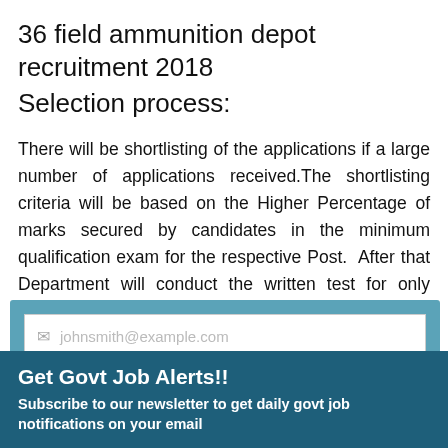36 field ammunition depot recruitment 2018
Selection process:
There will be shortlisting of the applications if a large number of applications received.The shortlisting criteria will be based on the Higher Percentage of marks secured by candidates in the minimum qualification exam for the respective Post. After that Department will conduct the written test for only shortlisted
[Figure (screenshot): Email and name input fields with a Submit button, styled as a newsletter sign-up form with a blue background]
Get Govt Job Alerts!!
Subscribe to our newsletter to get daily govt job notifications on your email